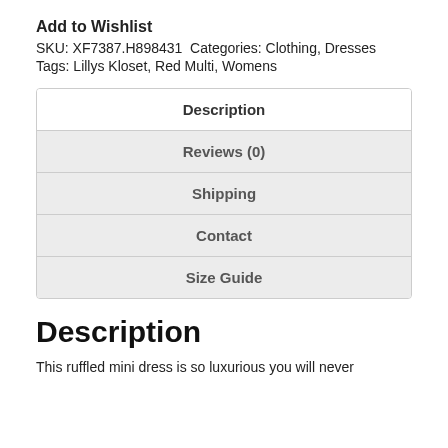Add to Wishlist
SKU: XF7387.H898431  Categories: Clothing, Dresses
Tags: Lillys Kloset, Red Multi, Womens
| Description |
| Reviews (0) |
| Shipping |
| Contact |
| Size Guide |
Description
This ruffled mini dress is so luxurious you will never